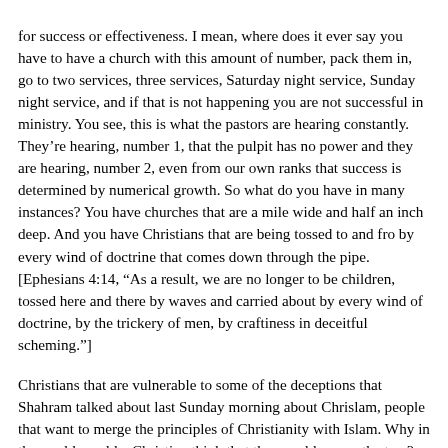for success or effectiveness. I mean, where does it ever say you have to have a church with this amount of number, pack them in, go to two services, three services, Saturday night service, Sunday night service, and if that is not happening you are not successful in ministry. You see, this is what the pastors are hearing constantly. They’re hearing, number 1, that the pulpit has no power and they are hearing, number 2, even from our own ranks that success is determined by numerical growth. So what do you have in many instances? You have churches that are a mile wide and half an inch deep. And you have Christians that are being tossed to and fro by every wind of doctrine that comes down through the pipe. [Ephesians 4:14, “As a result, we are no longer to be children, tossed here and there by waves and carried about by every wind of doctrine, by the trickery of men, by craftiness in deceitful scheming.”]
Christians that are vulnerable to some of the deceptions that Shahram talked about last Sunday morning about Chrislam, people that want to merge the principles of Christianity with Islam. Why in the world would a Christian think that they could merge the two? They are polar opposites. Why would such a movement even be gaining steam in the evangelical world? The answer is the plot, to a very large extent, is malnourished. And it’s malnourished because the pulpit, to a very large extent is not taken seriously because the pulpit has been overrun by secular marketing experts